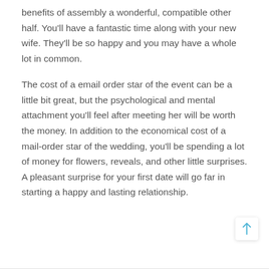benefits of assembly a wonderful, compatible other half. You'll have a fantastic time along with your new wife. They'll be so happy and you may have a whole lot in common.
The cost of a email order star of the event can be a little bit great, but the psychological and mental attachment you'll feel after meeting her will be worth the money. In addition to the economical cost of a mail-order star of the wedding, you'll be spending a lot of money for flowers, reveals, and other little surprises. A pleasant surprise for your first date will go far in starting a happy and lasting relationship.